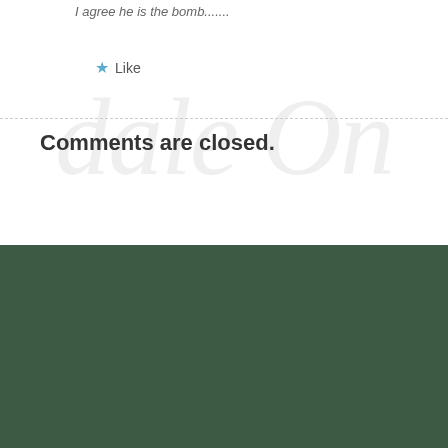I agree he is the bomb.......
Like
Comments are closed.
GET THE SANTA TRACKING APP
[Figure (illustration): Santa Tracking App advertisement banner on a red background. Shows a cartoon Santa Claus on the left. Text reads: NOW AVAILABLE, SANTA TRACKING APP, with a Google Play download button.]